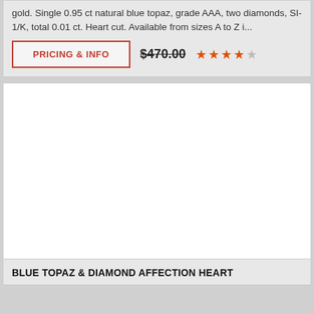gold. Single 0.95 ct natural blue topaz, grade AAA, two diamonds, SI-1/K, total 0.01 ct. Heart cut. Available from sizes A to Z i...
PRICING & INFO
$470.00
[Figure (other): 4-star rating with 4 orange stars and 1 grey star]
[Figure (other): Product image area (blank white)]
BLUE TOPAZ & DIAMOND AFFECTION HEART